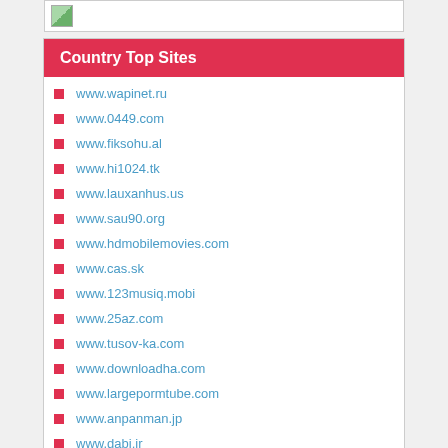[Figure (other): Small image icon in top bar]
Country Top Sites
www.wapinet.ru
www.0449.com
www.fiksohu.al
www.hi1024.tk
www.lauxanhus.us
www.sau90.org
www.hdmobilemovies.com
www.cas.sk
www.123musiq.mobi
www.25az.com
www.tusov-ka.com
www.downloadha.com
www.largepormtube.com
www.anpanman.jp
www.dabi.ir